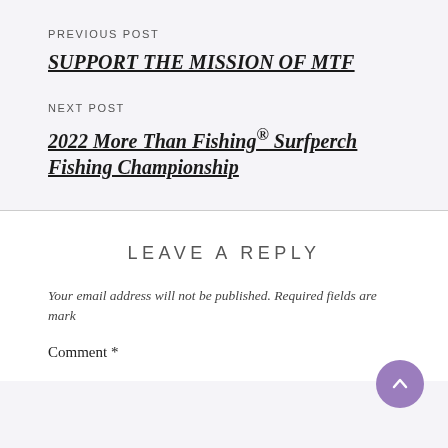PREVIOUS POST
SUPPORT THE MISSION OF MTF
NEXT POST
2022 More Than Fishing® Surfperch Fishing Championship
LEAVE A REPLY
Your email address will not be published. Required fields are marked
Comment *